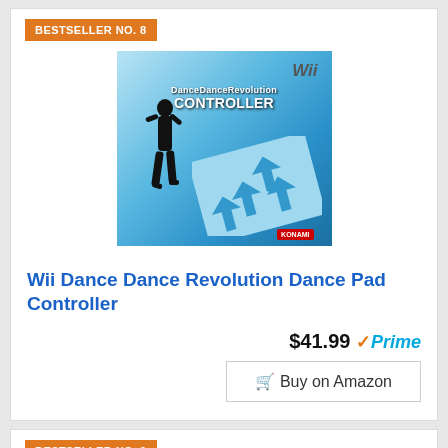BESTSELLER NO. 8
[Figure (photo): Product box art for Wii Dance Dance Revolution Controller, showing a dancer silhouette and dance pad on a blue background with Konami branding]
Wii Dance Dance Revolution Dance Pad Controller
$41.99 Prime
Buy on Amazon
BESTSELLER NO. 9